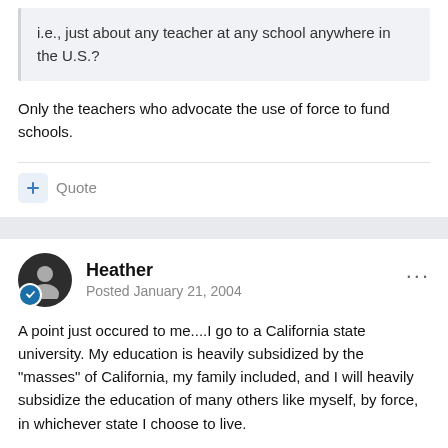i.e., just about any teacher at any school anywhere in the U.S.?
Only the teachers who advocate the use of force to fund schools.
Quote
Heather
Posted January 21, 2004
A point just occured to me....I go to a California state university. My education is heavily subsidized by the "masses" of California, my family included, and I will heavily subsidize the education of many others like myself, by force, in whichever state I choose to live.
The majority of the state teachers do not control the curriculum f...